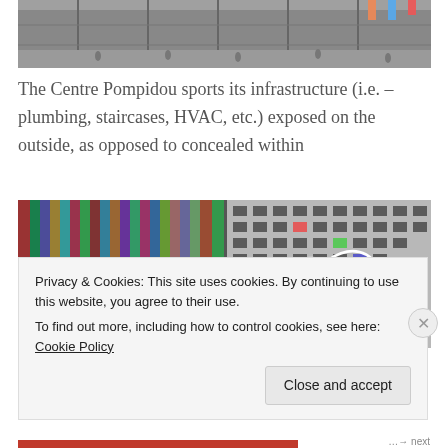[Figure (photo): Photograph of the Centre Pompidou building exterior with people in the plaza, showing industrial-style architecture with exposed structural elements.]
The Centre Pompidou sports its infrastructure (i.e. – plumbing, staircases, HVAC, etc.) exposed on the outside, as opposed to concealed within
[Figure (photo): Two side-by-side close-up photographs of colorful artwork or architectural details, the left showing vibrant multicolored stripes and the right showing a more muted grid pattern.]
Privacy & Cookies: This site uses cookies. By continuing to use this website, you agree to their use.
To find out more, including how to control cookies, see here: Cookie Policy
Close and accept